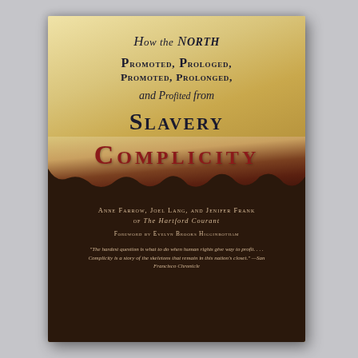[Figure (illustration): Book cover for 'Complicity: How the North Promoted, Prolonged, and Profited from Slavery' by Anne Farrow, Joel Lang, and Jenifer Frank of The Hartford Courant, with Foreword by Evelyn Brooks Higginbotham. The cover features aged parchment-like background with dark torn paper elements and the title in large display type. Bottom section is dark brown/black with author names and a review blurb in reddish-tan text.]